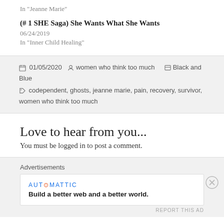In "Jeanne Marie"
(# 1 SHE Saga) She Wants What She Wants
06/24/2019
In "Inner Child Healing"
01/05/2020  women who think too much  Black and Blue  codependent, ghosts, jeanne marie, pain, recovery, survivor, women who think too much
Love to hear from you...
You must be logged in to post a comment.
Advertisements
AUTOMATTIC  Build a better web and a better world.